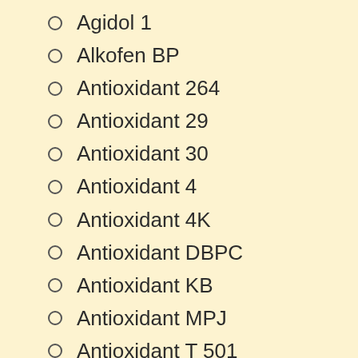Agidol 1
Alkofen BP
Antioxidant 264
Antioxidant 29
Antioxidant 30
Antioxidant 4
Antioxidant 4K
Antioxidant DBPC
Antioxidant KB
Antioxidant MPJ
Antioxidant T 501
Antox QT
Antrancine 8
Antrancine 8 [QR]
AO 29
AO 4K